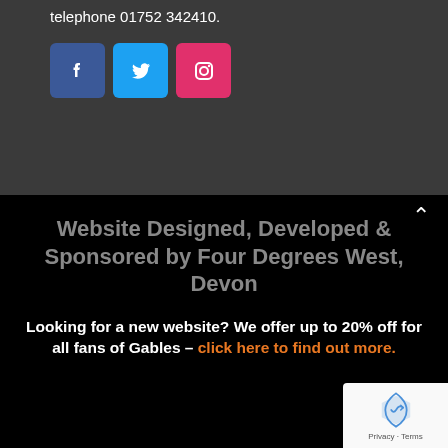telephone 01752 342410.
[Figure (infographic): Three social media icon buttons: Facebook (blue), Twitter (light blue), Instagram (pink/red)]
Website Designed, Developed & Sponsored by Four Degrees West, Devon
Looking for a new website? We offer up to 20% off for all fans of Gables – click here to find out more.